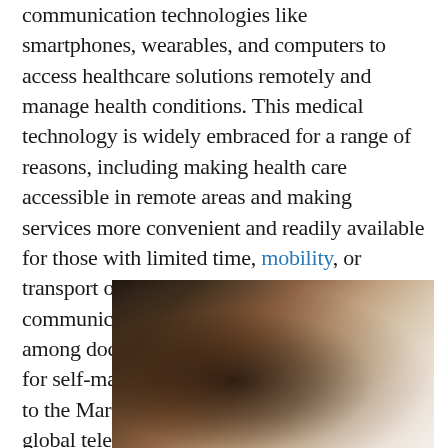communication technologies like smartphones, wearables, and computers to access healthcare solutions remotely and manage health conditions. This medical technology is widely embraced for a range of reasons, including making health care accessible in remote areas and making services more convenient and readily available for those with limited time, mobility, or transport options. M-health also improves communication and coordination of care among doctors and patients and offers support for self-management of healthcare. According to the Market Research Future analysis, the global telemedicine market is estimated to reach $16.17 billion, with a 22.74% CAGR from 2017-2024.
[Figure (photo): Partial image of a person's head/hair silhouetted against a light background, cropped at the bottom of the page.]